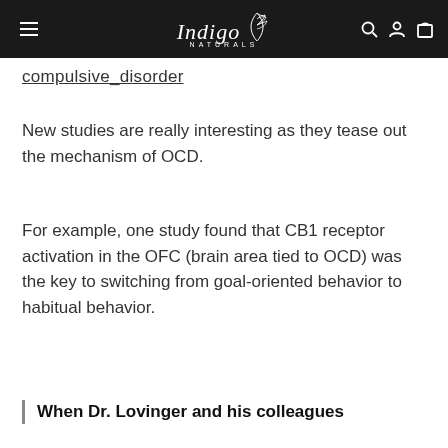Indigo Naturals
compulsive_disorder
New studies are really interesting as they tease out the mechanism of OCD.
For example, one study found that CB1 receptor activation in the OFC (brain area tied to OCD) was the key to switching from goal-oriented behavior to habitual behavior.
When Dr. Lovinger and his colleagues